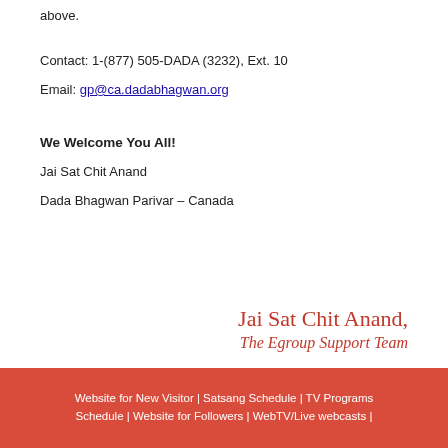above.
Contact: 1-(877) 505-DADA (3232), Ext. 10
Email: gp@ca.dadabhagwan.org
We Welcome You All!
Jai Sat Chit Anand
Dada Bhagwan Parivar – Canada
[Figure (illustration): Signature block reading 'Jai Sat Chit Anand, The Egroup Support Team' in red serif/italic font]
Website for New Visitor | Satsang Schedule | TV Programs Schedule | Website for Followers | WebTV/Live webcasts |